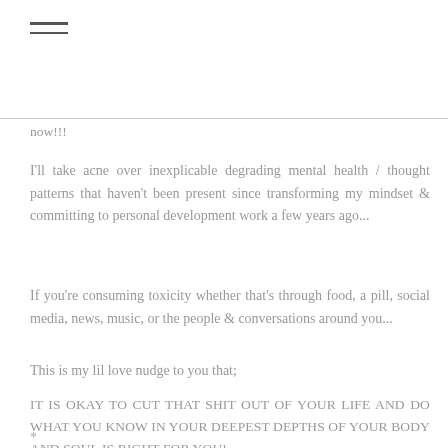≡ (hamburger menu icon)
now!!!
I'll take acne over inexplicable degrading mental health / thought patterns that haven't been present since transforming my mindset & committing to personal development work a few years ago...
If you're consuming toxicity whether that's through food, a pill, social media, news, music, or the people & conversations around you...
This is my lil love nudge to you that;
IT IS OKAY TO CUT THAT SHIT OUT OF YOUR LIFE AND DO WHAT YOU KNOW IN YOUR DEEPEST DEPTHS OF YOUR BODY AND SOUL IS RIGHT FOR YOU!
*